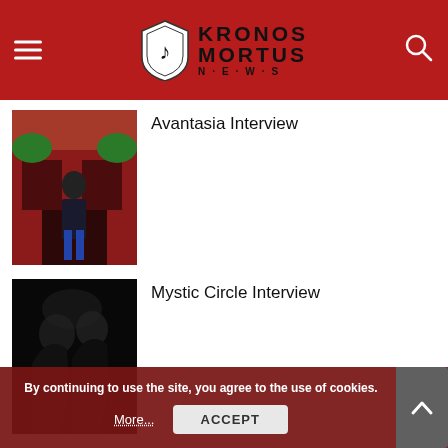Kronos Mortus News
[Figure (photo): Man standing in front of a pub with red facade]
Avantasia Interview
[Figure (photo): Dark black and white image of two cloaked figures]
Mystic Circle Interview
[Figure (photo): Dark image of band members]
Cellar Darling Interview
By continuing to use the site, you agree to the use of cookies.